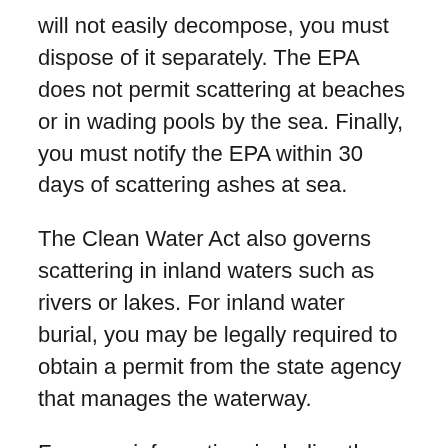will not easily decompose, you must dispose of it separately. The EPA does not permit scattering at beaches or in wading pools by the sea. Finally, you must notify the EPA within 30 days of scattering ashes at sea.
The Clean Water Act also governs scattering in inland waters such as rivers or lakes. For inland water burial, you may be legally required to obtain a permit from the state agency that manages the waterway.
For more information, including the contact information for the EPA representative in New York, see Burial of Human Remains at Sea on the EPA website.
Scattering ashes by air. While there are no state...